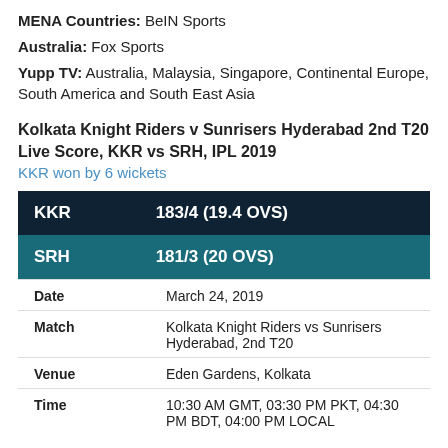MENA Countries: BeIN Sports
Australia: Fox Sports
Yupp TV: Australia, Malaysia, Singapore, Continental Europe, South America and South East Asia
Kolkata Knight Riders v Sunrisers Hyderabad 2nd T20 Live Score, KKR vs SRH, IPL 2019
KKR won by 6 wickets
| Team | Score |
| --- | --- |
| KKR | 183/4 (19.4 OVS) |
| SRH | 181/3 (20 OVS) |
| Date | March 24, 2019 |
| Match | Kolkata Knight Riders vs Sunrisers Hyderabad, 2nd T20 |
| Venue | Eden Gardens, Kolkata |
| Time | 10:30 AM GMT, 03:30 PM PKT, 04:30 PM BDT, 04:00 PM LOCAL |